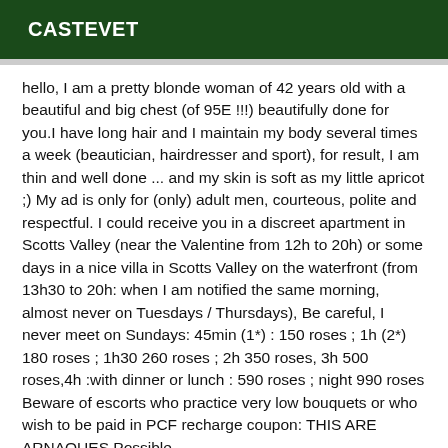CASTEVET
hello, I am a pretty blonde woman of 42 years old with a beautiful and big chest (of 95E !!!) beautifully done for you.I have long hair and I maintain my body several times a week (beautician, hairdresser and sport), for result, I am thin and well done ... and my skin is soft as my little apricot ;) My ad is only for (only) adult men, courteous, polite and respectful. I could receive you in a discreet apartment in Scotts Valley (near the Valentine from 12h to 20h) or some days in a nice villa in Scotts Valley on the waterfront (from 13h30 to 20h: when I am notified the same morning, almost never on Tuesdays / Thursdays), Be careful, I never meet on Sundays: 45min (1*) : 150 roses ; 1h (2*) 180 roses ; 1h30 260 roses ; 2h 350 roses, 3h 500 roses,4h :with dinner or lunch : 590 roses ; night 990 roses Beware of escorts who practice very low bouquets or who wish to be paid in PCF recharge coupon: THIS ARE ARNAQUES Possible